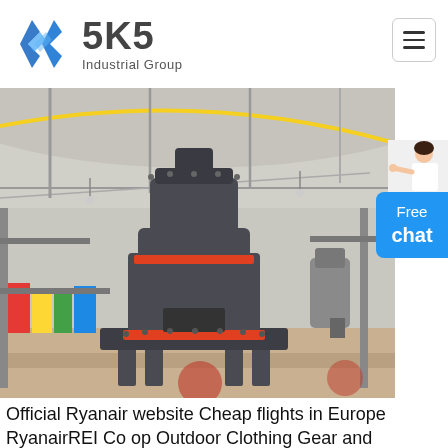[Figure (logo): SKS Industrial Group logo with blue diamond S icon and dark gray SKS text with 'Industrial Group' subtitle]
[Figure (photo): Industrial factory interior with a large vertical grinding mill machine (dark gray with orange bands) in the foreground, inside a large warehouse with high ceiling and natural light]
Official Ryanair website Cheap flights in Europe RyanairREI Co op Outdoor Clothing Gear and